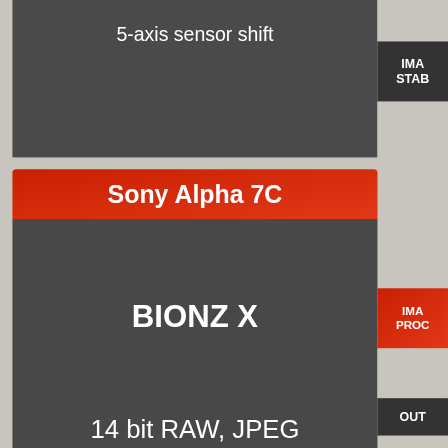5-axis sensor shift
Sony Alpha 7C
BIONZ X
14 bit RAW, JPEG
IMA STAB
IMA PROC
OUT